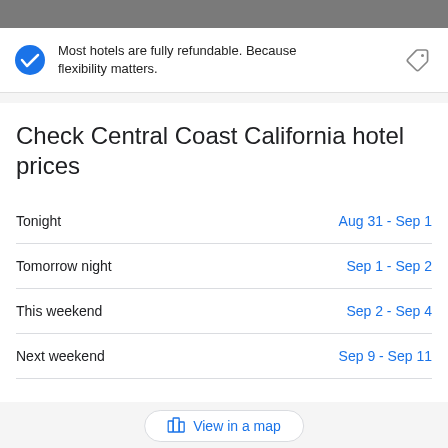Most hotels are fully refundable. Because flexibility matters.
Check Central Coast California hotel prices
Tonight    Aug 31 - Sep 1
Tomorrow night    Sep 1 - Sep 2
This weekend    Sep 2 - Sep 4
Next weekend    Sep 9 - Sep 11
View in a map